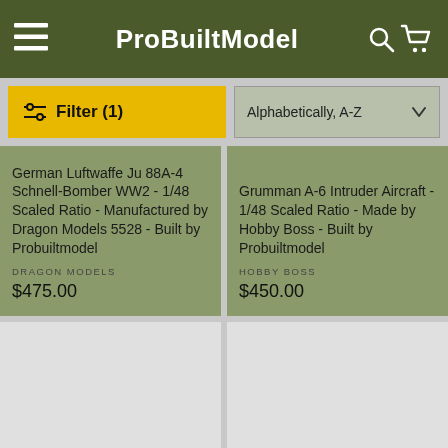ProBuiltModel
Filter (1)
Alphabetically, A-Z
German Luftwaffe Ju 88A-4 Schnell-Bomber WW2 - 1/48 Scaled Ratio - Manufactured by Dragon Models 5528 - Built by Probuiltmodel
DRAGON MODELS
$475.00
Grumman A-6 Intruder Aircraft - 1/48 Scaled Ratio - Made by Hobby Boss - Built by Probuiltmodel
HOBBY BOSS
$450.00